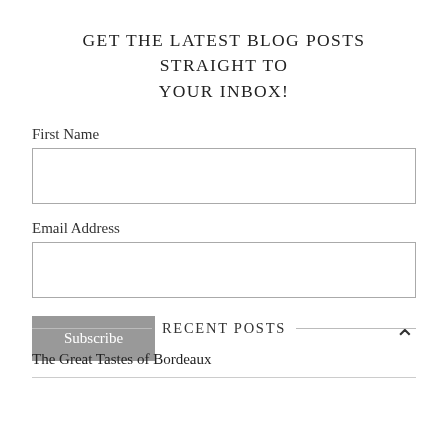GET THE LATEST BLOG POSTS STRAIGHT TO YOUR INBOX!
First Name
Email Address
Subscribe
RECENT POSTS
The Great Tastes of Bordeaux